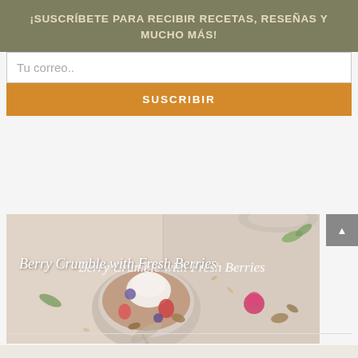¡SUSCRÍBETE PARA RECIBIR RECETAS, RESEÑAS Y MUCHO MÁS!
Tu correo..
SUSCRIBIR
[Figure (photo): Overhead photo of a berry crumble dessert bowl with ice cream, fresh strawberries, blueberries, raspberries, nuts and green leaves scattered around on a light surface. The image is split by a vertical dividing line.]
Berry Crumble with Fresh Berries